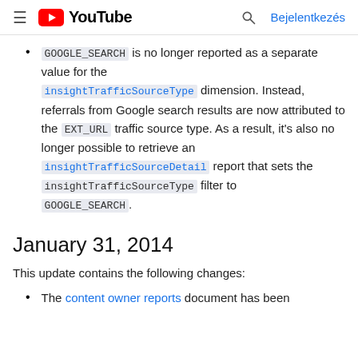≡ YouTube   🔍 Bejelentkezés
GOOGLE_SEARCH is no longer reported as a separate value for the insightTrafficSourceType dimension. Instead, referrals from Google search results are now attributed to the EXT_URL traffic source type. As a result, it's also no longer possible to retrieve an insightTrafficSourceDetail report that sets the insightTrafficSourceType filter to GOOGLE_SEARCH.
January 31, 2014
This update contains the following changes:
The content owner reports document has been